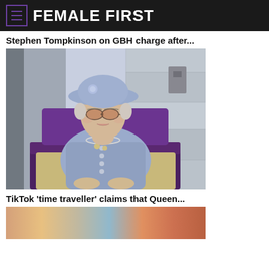FEMALE FIRST
Stephen Tompkinson on GBH charge after...
[Figure (photo): Elderly woman dressed in light blue suit and matching hat with orange-tinted sunglasses, seated in a purple chair outdoors against a stone building background]
TikTok 'time traveller' claims that Queen...
[Figure (photo): Partial view of another article image at bottom of page, showing colorful horizontal bands]